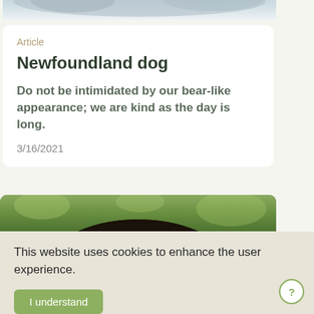[Figure (photo): Top portion of a photo of a dog or animal, partially cropped, showing fur/animal at top of page]
Article
Newfoundland dog
Do not be intimidated by our bear-like appearance; we are kind as the day is long.
3/16/2021
[Figure (photo): Close-up photo of a dark/black Labrador or similar dog peering over something, showing just the top of its head and eyes, with green blurred background]
This website uses cookies to enhance the user experience.